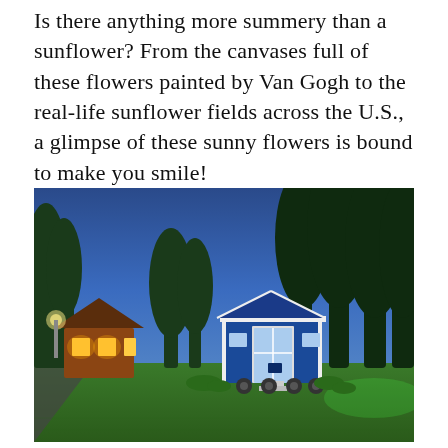Is there anything more summery than a sunflower? From the canvases full of these flowers painted by Van Gogh to the real-life sunflower fields across the U.S., a glimpse of these sunny flowers is bound to make you smile!
[Figure (photo): Twilight/dusk photo of two tiny houses surrounded by tall trees on a grassy property. A blue and white tiny house on wheels is in the foreground center-right, and a smaller warm-lit cabin structure is on the left. The sky is a deep blue gradient and the grass is green and well-maintained.]